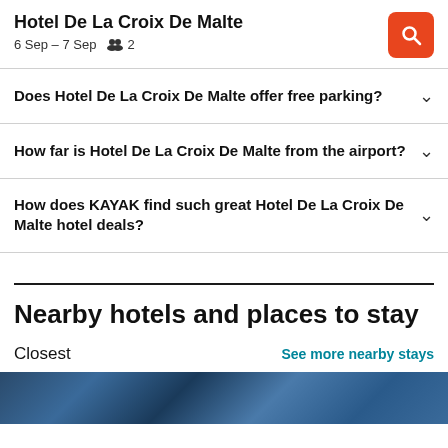Hotel De La Croix De Malte — 6 Sep – 7 Sep, 2 guests
Does Hotel De La Croix De Malte offer free parking?
How far is Hotel De La Croix De Malte from the airport?
How does KAYAK find such great Hotel De La Croix De Malte hotel deals?
Nearby hotels and places to stay
Closest
See more nearby stays
[Figure (photo): Bottom strip showing hotel photo thumbnails]